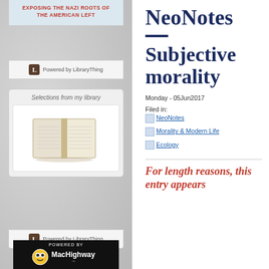[Figure (screenshot): Left sidebar with book widget showing 'EXPOSING THE NAZI ROOTS OF THE AMERICAN LEFT' in red text on light blue background]
Powered by LibraryThing
Selections from my library
[Figure (photo): Open book image in white box]
Powered by LibraryThing
[Figure (logo): MacHighway logo - black and white with owl icon]
NeoNotes
Subjective morality
Monday - 05Jun2017
Filed in:
NeoNotes    Morality & Modern Life    Ecology
For length reasons, this entry appears